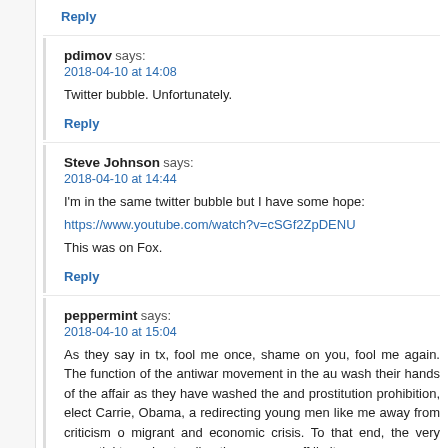Reply
pdimov says:
2018-04-10 at 14:08
Twitter bubble. Unfortunately.
Reply
Steve Johnson says:
2018-04-10 at 14:44
I'm in the same twitter bubble but I have some hope:
https://www.youtube.com/watch?v=cSGf2ZpDENU
This was on Fox.
Reply
peppermint says:
2018-04-10 at 15:04
As they say in tx, fool me once, shame on you, fool me again. The function of the antiwar movement in the au wash their hands of the affair as they have washed the and prostitution prohibition, elect Carrie, Obama, a redirecting young men like me away from criticism o migrant and economic crisis. To that end, the very essential to understanding the war, was off limits as a